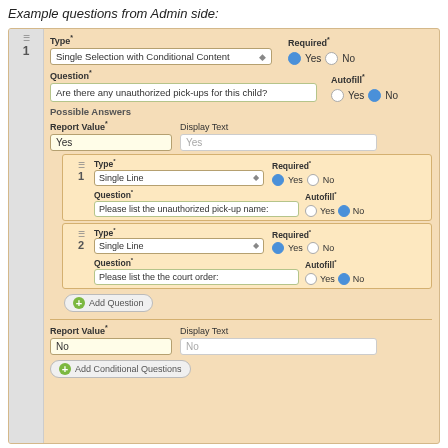Example questions from Admin side:
[Figure (screenshot): Admin-side form interface showing a question builder with 'Single Selection with Conditional Content' type, question 'Are there any unauthorized pick-ups for this child?', possible answers 'Yes' and 'No', each with conditional sub-questions using 'Single Line' type fields for unauthorized pick-up name and court order.]